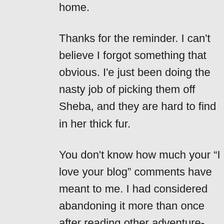home.
Thanks for the reminder. I can't believe I forgot something that obvious. I'e just been doing the nasty job of picking them off Sheba, and they are hard to find in her thick fur.
You don't know how much your “I love your blog” comments have meant to me. I had considered abandoning it more than once after reading other adventure-filled blogs.